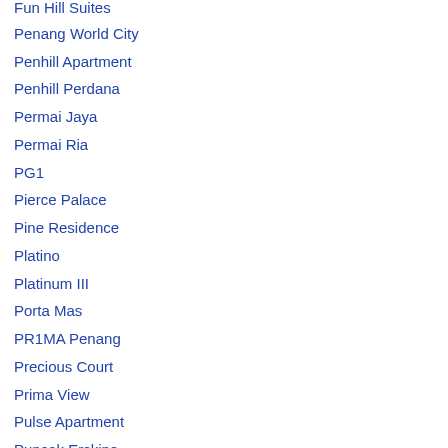Fun Hill Suites
Penang World City
Penhill Apartment
Penhill Perdana
Permai Jaya
Permai Ria
PG1
Pierce Palace
Pine Residence
Platino
Platinum III
Porta Mas
PR1MA Penang
Precious Court
Prima View
Pulse Apartment
Puncak Erskine
Putra Marine
Putra Place